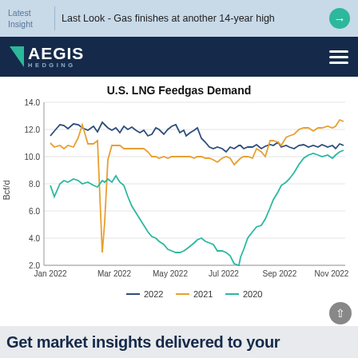Latest Insight | Last Look - Gas finishes at another 14-year high
[Figure (logo): Aegis Hedging logo with navigation bar]
[Figure (line-chart): U.S. LNG Feedgas Demand]
Get market insights delivered to your...